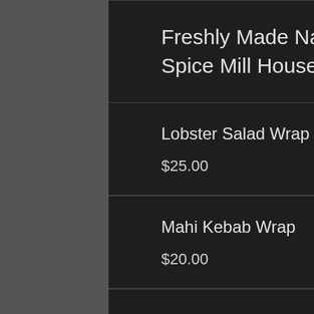Freshly Made Naan Bread Wraps, served with Spice Mill House Salad
Lobster Salad Wrap
$25.00
Mahi Kebab Wrap
$20.00
Vegan Kebab Wrap
$16.00
Spice Mill House Za... Sh...